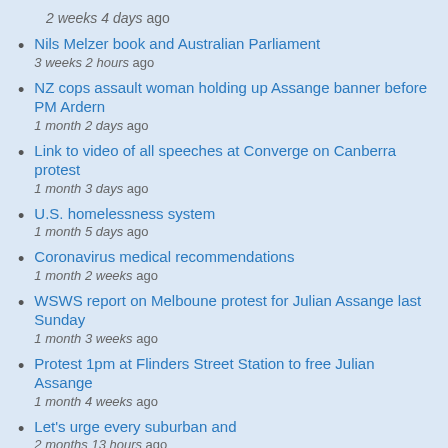2 weeks 4 days ago
Nils Melzer book and Australian Parliament
3 weeks 2 hours ago
NZ cops assault woman holding up Assange banner before PM Ardern
1 month 2 days ago
Link to video of all speeches at Converge on Canberra protest
1 month 3 days ago
U.S. homelessness system
1 month 5 days ago
Coronavirus medical recommendations
1 month 2 weeks ago
WSWS report on Melboune protest for Julian Assange last Sunday
1 month 3 weeks ago
Protest 1pm at Flinders Street Station to free Julian Assange
1 month 4 weeks ago
Let's urge every suburban and
2 months 13 hours ago
Tulsi Gabbard: extradition of Assange threatens all journalists
2 months 14 hours ago